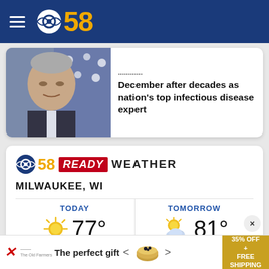CBS 58
[Figure (photo): Man's face in front of American flag background]
... in December after decades as nation's top infectious disease expert
[Figure (logo): CBS 58 READY WEATHER logo]
MILWAUKEE, WI
TODAY 77° Sunny
TOMORROW 81° Mostly Sunny
[Figure (infographic): Advertisement: The perfect gift 35% OFF + FREE SHIPPING]